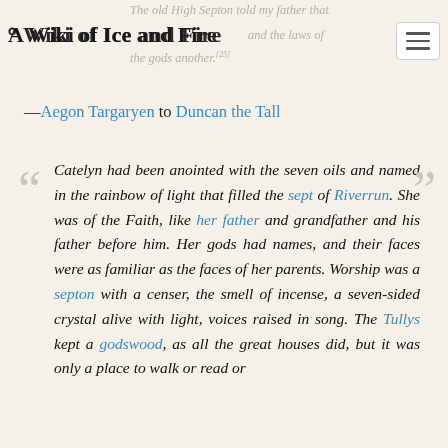A Wiki of Ice and Fire — The old High Septon told my father that ... and the laws of the gods another.[25]
—Aegon Targaryen to Duncan the Tall
Catelyn had been anointed with the seven oils and named in the rainbow of light that filled the sept of Riverrun. She was of the Faith, like her father and grandfather and his father before him. Her gods had names, and their faces were as familiar as the faces of her parents. Worship was a septon with a censer, the smell of incense, a seven-sided crystal alive with light, voices raised in song. The Tullys kept a godswood, as all the great houses did, but it was only a place to walk or read or